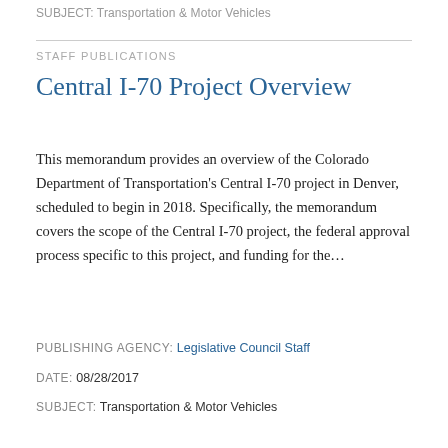SUBJECT: Transportation & Motor Vehicles
STAFF PUBLICATIONS
Central I-70 Project Overview
This memorandum provides an overview of the Colorado Department of Transportation's Central I-70 project in Denver, scheduled to begin in 2018. Specifically, the memorandum covers the scope of the Central I-70 project, the federal approval process specific to this project, and funding for the...
PUBLISHING AGENCY: Legislative Council Staff
DATE: 08/28/2017
SUBJECT: Transportation & Motor Vehicles